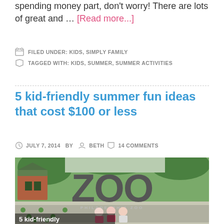spending money part, don't worry! There are lots of great and … [Read more...]
FILED UNDER: KIDS, SIMPLY FAMILY
TAGGED WITH: KIDS, SUMMER, SUMMER ACTIVITIES
5 kid-friendly summer fun ideas that cost $100 or less
JULY 7, 2014   BY   BETH   14 COMMENTS
[Figure (photo): Photo of children sitting in front of a Philadelphia Zoo sign, with large block letters spelling ZOO. Three children are seated on a white ledge below the sign. Green polka dot overlay in bottom-left corner. Caption overlay reads '5 kid-friendly'.]